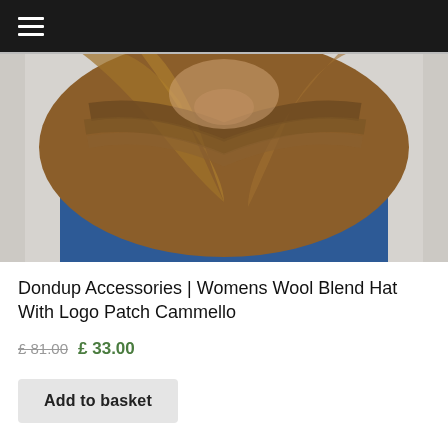≡
[Figure (photo): Woman with long brown hair swept across her face wearing a denim shirt, product photo for a wool blend hat]
Dondup Accessories | Womens Wool Blend Hat With Logo Patch Cammello
£ 81.00 £ 33.00
Add to basket